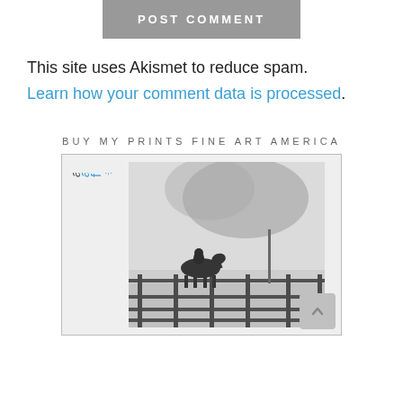POST COMMENT
This site uses Akismet to reduce spam. Learn how your comment data is processed.
BUY MY PRINTS FINE ART AMERICA
[Figure (photo): Fine Art America banner showing a black and white photo of a horse and rider in a snowy, foggy landscape with a wooden fence in the foreground. The Fine Art America logo appears vertically on the left side in blue and gray italic text.]